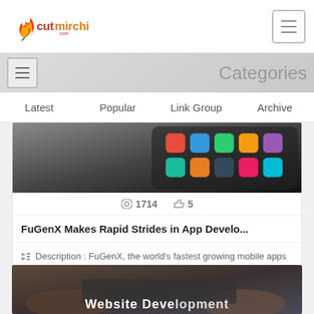cutmirchi logo header with hamburger menu
Categories
Latest   Popular   Link Group   Archive
[Figure (photo): Close-up of a smartphone with colorful app icons on screen]
👁1714  👍5
FuGenX Makes Rapid Strides in App Develo...
🏷 Description : FuGenX, the world's fastest growing mobile apps and game development company, today announced the l...
🏷 Tags : Fugenx Technologies, Fugenx Technologie...
[Figure (photo): Hands typing on a laptop keyboard with text 'Website Development' overlay]